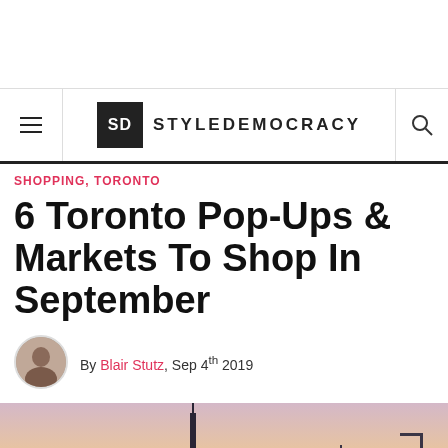SD STYLEDEMOCRACY
SHOPPING, TORONTO
6 Toronto Pop-Ups & Markets To Shop In September
By Blair Stutz, Sep 4th 2019
[Figure (photo): Toronto skyline at sunset showing CN Tower and skyscrapers with a pinkish-orange sky]